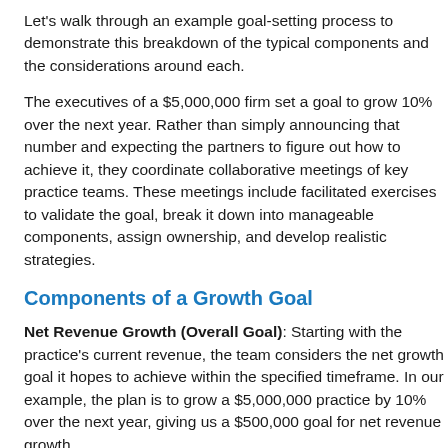Let's walk through an example goal-setting process to demonstrate this breakdown of the typical components and the considerations around each.
The executives of a $5,000,000 firm set a goal to grow 10% over the next year. Rather than simply announcing that number and expecting the partners to figure out how to achieve it, they coordinate collaborative meetings of key practice teams. These meetings include facilitated exercises to validate the goal, break it down into manageable components, assign ownership, and develop realistic strategies.
Components of a Growth Goal
Net Revenue Growth (Overall Goal): Starting with the practice's current revenue, the team considers the net growth goal it hopes to achieve within the specified timeframe. In our example, the plan is to grow a $5,000,000 practice by 10% over the next year, giving us a $500,000 goal for net revenue growth.